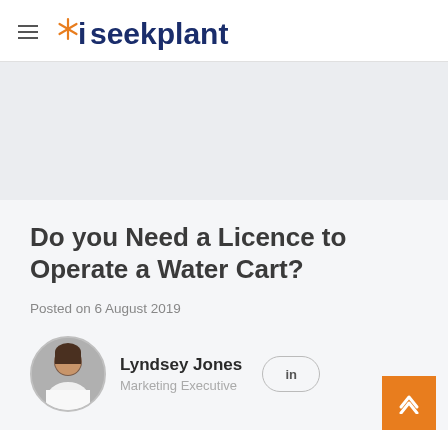iseekplant
[Figure (illustration): Gray hero banner area above article title]
Do you Need a Licence to Operate a Water Cart?
Posted on 6 August 2019
Lyndsey Jones
Marketing Executive